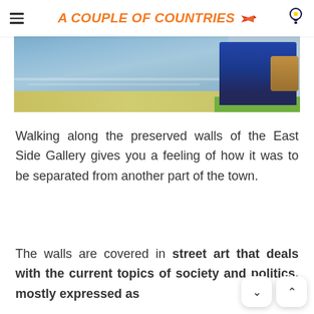A COUPLE OF COUNTRIES
[Figure (photo): Outdoor photo showing a body of water (river or lake) with a person sitting on a ledge or wall near the water's edge, with grass visible on the right side.]
Walking along the preserved walls of the East Side Gallery gives you a feeling of how it was to be separated from another part of the town.
The walls are covered in street art that deals with the current topics of society and politics, mostly expressed as